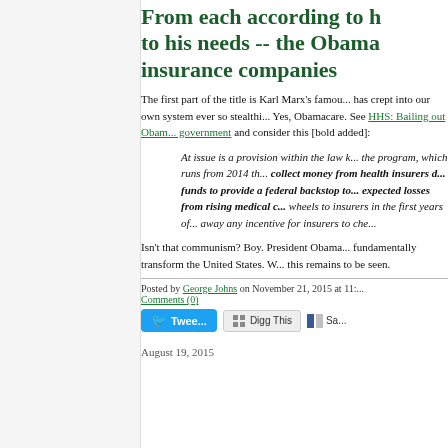From each according to h... to his needs -- the Obama... insurance companies
The first part of the title is Karl Marx's famou... has crept into our own system ever so stealthi... Yes, Obamacare. See HHS: Bailing out Obam... government and consider this [bold added]:
At issue is a provision within the law k... the program, which runs from 2014 th... collect money from health insurers d... funds to provide a federal backstop to... expected losses from rising medical c... wheels to insurers in the first years of... away any incentive for insurers to che...
Isn't that communism? Boy. President Obama... fundamentally transform the United States. W... this remains to be seen.
Posted by George Johns on November 21, 2015 at 11:... Comments (0)
August 19, 2015